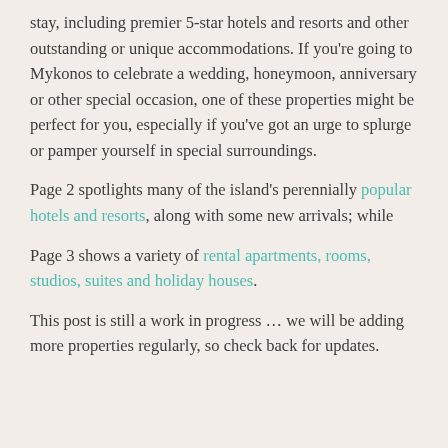stay, including premier 5-star hotels and resorts and other outstanding or unique accommodations. If you're going to Mykonos to celebrate a wedding, honeymoon, anniversary or other special occasion, one of these properties might be perfect for you, especially if you've got an urge to splurge or pamper yourself in special surroundings.
Page 2 spotlights many of the island's perennially popular hotels and resorts, along with some new arrivals; while
Page 3 shows a variety of rental apartments, rooms, studios, suites and holiday houses.
This post is still a work in progress … we will be adding more properties regularly, so check back for updates.